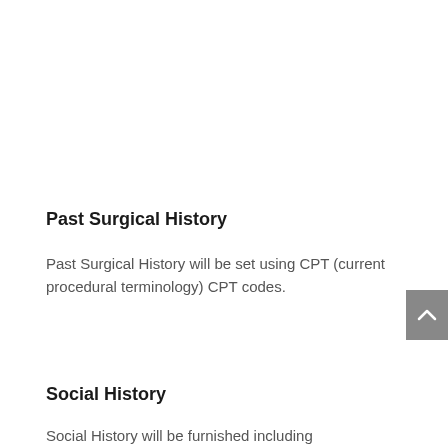Past Surgical History
Past Surgical History will be set using CPT (current procedural terminology) CPT codes.
Social History
Social History will be furnished including